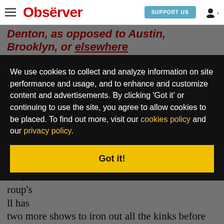Observer — navigation bar with hamburger menu, Observer logo, SUPPORT US button, user icon
Denton, as opposed to Austin, Brooklyn, or elsewhere. But, will the band's performance at Meredith this year bond with...
We use cookies to collect and analyze information on site performance and usage, and to enhance and customize content and advertisements. By clicking 'Got it' or continuing to use the site, you agree to allow cookies to be placed. To find out more, visit our cookies policy and our privacy policy.
Got it!
...ries, roup's ll has two more shows to iron out all the kinks before